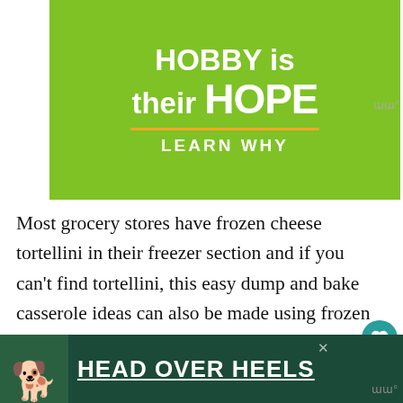[Figure (infographic): Green banner advertisement with white bold text reading 'HOBBY is their HOPE' with orange underline and 'LEARN WHY' below]
Most grocery stores have frozen cheese tortellini in their freezer section and if you can't find tortellini, this easy dump and bake casserole ideas can also be made using frozen ravioli instead.
PRO TIPS FOR BAKED TORTELLINI CASSEROLE
Not a fan of Italian sausage? Leave it out or
[Figure (infographic): Dark green bottom advertisement banner with dog image and text HEAD OVER HEELS]